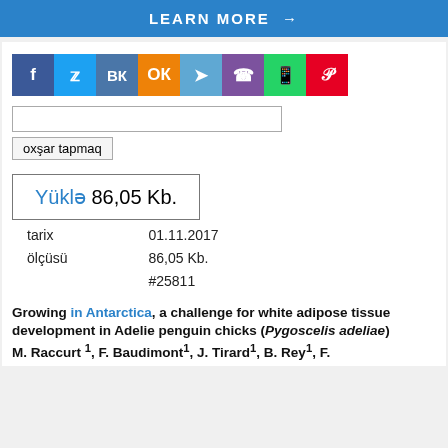LEARN MORE →
[Figure (other): Social media sharing icons: Facebook, Twitter, VK, Odnoklassniki, Telegram, Viber, WhatsApp, Pinterest]
oxşar tapmaq
Yüklə 86,05 Kb.
| tarix | 01.11.2017 |
| ölçüsü | 86,05 Kb. |
|  | #25811 |
Growing in Antarctica, a challenge for white adipose tissue development in Adelie penguin chicks (Pygoscelis adeliae) M. Raccurt 1, F. Baudimont1, J. Tirard1, B. Rey1, F.